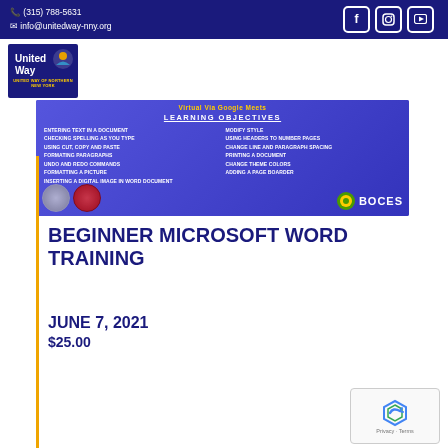(315) 788-5631  info@unitedway-nny.org
[Figure (logo): United Way of Northern New York logo in blue box]
[Figure (infographic): Beginner Microsoft Word Training course flyer with blue background showing LEARNING OBJECTIVES including: ENTERING TEXT IN A DOCUMENT, CHECKING SPELLING AS YOU TYPE, USING CUT, COPY AND PASTE, FORMATING PARAGRAPHS, UNDO AND REDO COMMANDS, FORMATTING A PICTURE, INSERTING A DIGITAL IMAGE IN WORD DOCUMENT, MODIFY STYLE, USING HEADERS TO NUMBER PAGES, CHANGE LINE AND PARAGRAPH SPACING, PRINTING A DOCUMENT, CHANGE THEME COLORS, ADDING A PAGE BOARDER. BOCES logo shown. Virtual via Google Meets.]
BEGINNER MICROSOFT WORD TRAINING
JUNE 7, 2021
$25.00